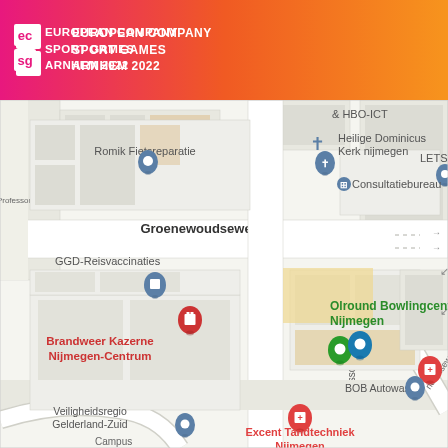European Company Sport Games Arnhem 2022
[Figure (map): Google Maps view of Nijmegen area showing Groenewoudseweg street with locations: Romik Fietsreparatie, Heilige Dominicus Kerk nijmegen, Consultatiebureau, GGD-Reisvaccinaties, Brandweer Kazerne Nijmegen-Centrum, Veiligheidsregio Gelderland-Zuid, Olround Bowlingcentrum Nijmegen, BOB Autowas, Excent Tandtechniek Nijmegen, LETS, Professor Bellefroidstraat road, & HBO-ICT label, Campus label]